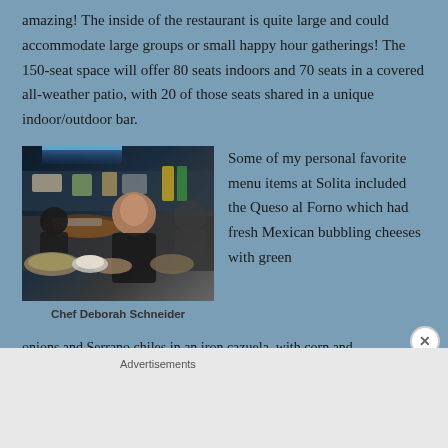amazing! The inside of the restaurant is quite large and could accommodate large groups or small happy hour gatherings! The 150-seat space will offer 80 seats indoors and 70 seats in a covered all-weather patio, with 20 of those seats shared in a unique indoor/outdoor bar.
[Figure (photo): Photo of Chef Deborah Schneider in a restaurant kitchen setting]
Chef Deborah Schneider
Some of my personal favorite menu items at Solita included the Queso al Forno which had fresh Mexican bubbling cheeses with green
onions and Serrano chiles in an iron cazuela, with corn and
Advertisements